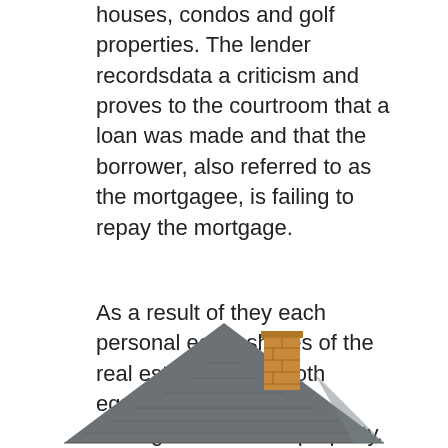houses, condos and golf properties. The lender recordsdata a criticism and proves to the courtroom that a loan was made and that the borrower, also referred to as the mortgagee, is failing to repay the mortgage.
As a result of they each personal equal shares of the real estate, they're both equally liable for the management of that property. We'd be glad to refer you to a effectively respected local lender that will help you through the whole means of securing a VA, FHA or Typical loan. We run the Dwelling Finder scheme with local housing associations and neighbouring councils.
[Figure (illustration): Illustration of a house roof with a brick chimney, shown in a simple flat style with grey roof tiles and an orange/tan chimney.]